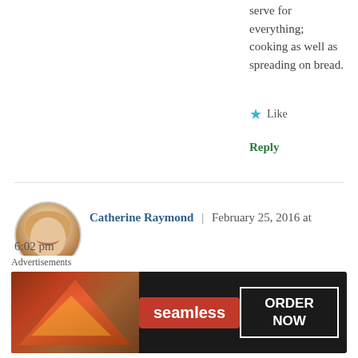serve for everything; cooking as well as spreading on bread.
★ Like
Reply
Catherine Raymond | February 25, 2016 at 6:02 pm
👍 1 👎 1 ℹ Rate This
Your weekly ration list doesn't include flour, oatmeal or other grain. Granted you could grow fruit and vegetables in the family garden (my family did!), cereal grains can't be grown very effectively at that level. How much wheat, bread, or oatmeal was
Advertisements
[Figure (photo): Seamless food delivery advertisement banner with pizza image, Seamless logo in red, and ORDER NOW button]